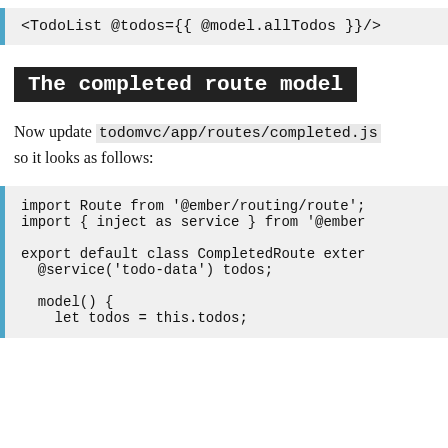[Figure (screenshot): Code block showing: <TodoList @todos={{ @model.allTodos }}/>]
The completed route model
Now update todomvc/app/routes/completed.js so it looks as follows:
[Figure (screenshot): Code block showing import Route from '@ember/routing/route'; import { inject as service } from '@ember... export default class CompletedRoute exter... @service('todo-data') todos; model() { let todos = this.todos;]